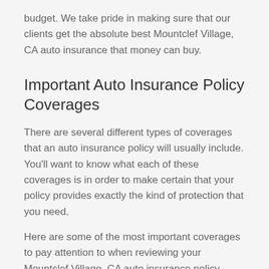budget. We take pride in making sure that our clients get the absolute best Mountclef Village, CA auto insurance that money can buy.
Important Auto Insurance Policy Coverages
There are several different types of coverages that an auto insurance policy will usually include. You'll want to know what each of these coverages is in order to make certain that your policy provides exactly the kind of protection that you need.
Here are some of the most important coverages to pay attention to when reviewing your Mountclef Village, CA auto insurance policy.